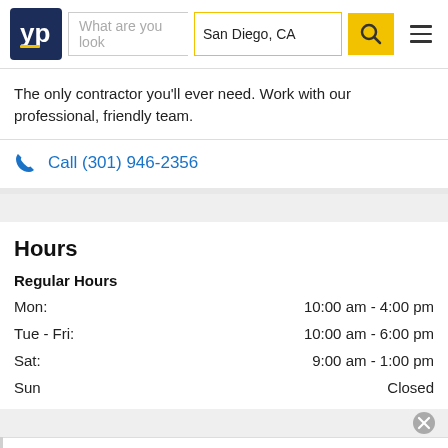[Figure (logo): YellowPages (YP) logo - dark blue square with 'yp' text and yellow underline]
What are you look
San Diego, CA
The only contractor you'll ever need. Work with our professional, friendly team.
Call (301) 946-2356
Hours
Regular Hours
| Day | Hours |
| --- | --- |
| Mon: | 10:00 am - 4:00 pm |
| Tue - Fri: | 10:00 am - 6:00 pm |
| Sat: | 9:00 am - 1:00 pm |
| Sun | Closed |
More Info